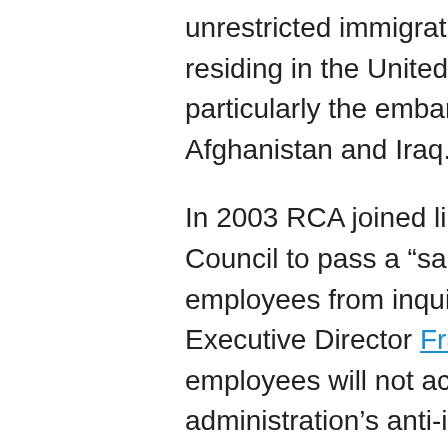unrestricted immigration across... residing in the United States. An particularly the embargo again... Afghanistan and Iraq.
In 2003 RCA joined likeminded... Council to pass a “sanctuary” re... employees from inquiring into t... Executive Director Frank Varde... employees will not act as intelli... administration’s anti-immigrant... Immigrants,” which called for si... the granting of driver’s licenses... government’s authority to deta...